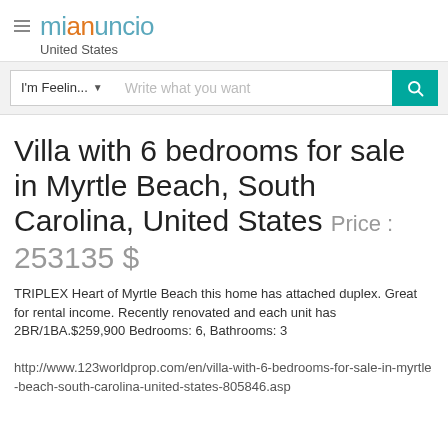mianuncio United States
Villa with 6 bedrooms for sale in Myrtle Beach, South Carolina, United States Price : 253135 $
TRIPLEX Heart of Myrtle Beach this home has attached duplex. Great for rental income. Recently renovated and each unit has 2BR/1BA.$259,900 Bedrooms: 6, Bathrooms: 3
http://www.123worldprop.com/en/villa-with-6-bedrooms-for-sale-in-myrtle-beach-south-carolina-united-states-805846.asp